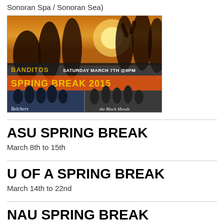Sonoran Spa / Sonoran Sea)
[Figure (photo): Concert/event promotional image for Banditos Spring Break 2015, Saturday March 7th @9PM, featuring band photos of Belchers and The Black Moods]
ASU SPRING BREAK
March 8th to 15th
U OF A SPRING BREAK
March 14th to 22nd
NAU SPRING BREAK